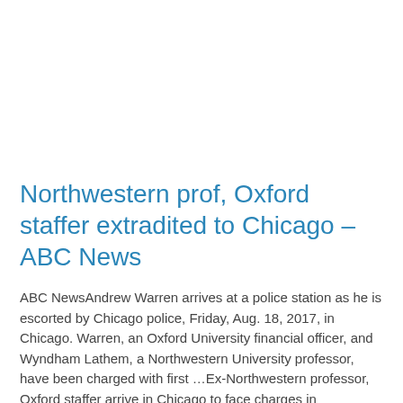Northwestern prof, Oxford staffer extradited to Chicago – ABC News
ABC NewsAndrew Warren arrives at a police station as he is escorted by Chicago police, Friday, Aug. 18, 2017, in Chicago. Warren, an Oxford University financial officer, and Wyndham Lathem, a Northwestern University professor, have been charged with first …Ex-Northwestern professor, Oxford staffer arrive in Chicago to face charges in slayingChicago TribuneThe Latest: Suspect in […]